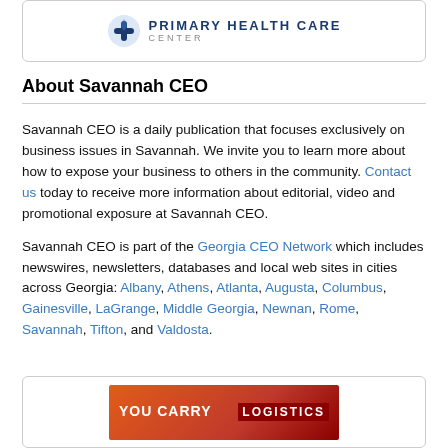[Figure (logo): Primary Health Care Center logo with a blue medical cross/leaf icon and text 'PRIMARY HEALTH CARE CENTER']
About Savannah CEO
Savannah CEO is a daily publication that focuses exclusively on business issues in Savannah. We invite you to learn more about how to expose your business to others in the community. Contact us today to receive more information about editorial, video and promotional exposure at Savannah CEO.
Savannah CEO is part of the Georgia CEO Network which includes newswires, newsletters, databases and local web sites in cities across Georgia: Albany, Athens, Atlanta, Augusta, Columbus, Gainesville, LaGrange, Middle Georgia, Newnan, Rome, Savannah, Tifton, and Valdosta.
[Figure (illustration): Banner advertisement showing 'YOU CARRY' text on left with orange/red gradient, and 'LOGISTICS' text on the right dark red section]